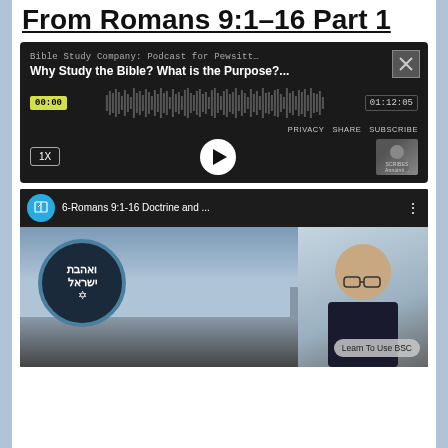From Romans 9:1-16 Part 1
[Figure (screenshot): Podcast player embed from Bible Study Company: Podcast for Pewsitt... showing episode 'Why Study the Bible? What is the Purpose?...' with waveform, timecodes 00:00 and 01:12:05, PRIVACY SHARE SUBSCRIBE links, play button, speed 1X button, and speaker avatar thumbnail.]
[Figure (screenshot): YouTube embed showing '6-Romans 9:1-16 Doctrine and ...' with channel icon (blue book/pen logo), three-dot menu, and thumbnail featuring a circular logo with Hebrew text (ואהבת ישראל) and Star of David, and a man with glasses in front of a city skyline. 'Learn To Use BSC' button visible in bottom right.]